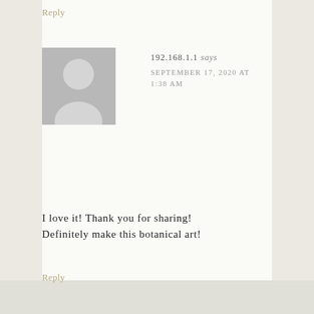Reply
[Figure (illustration): Generic grey avatar silhouette showing a person outline (head and shoulders) on a grey square background]
192.168.1.1 says
SEPTEMBER 17, 2020 AT 1:38 AM
I love it! Thank you for sharing! Definitely make this botanical art!
Reply